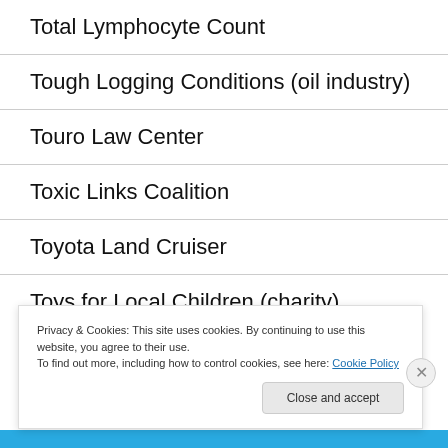Total Lymphocyte Count
Tough Logging Conditions (oil industry)
Touro Law Center
Toxic Links Coalition
Toyota Land Cruiser
Toys for Local Children (charity)
Privacy & Cookies: This site uses cookies. By continuing to use this website, you agree to their use.
To find out more, including how to control cookies, see here: Cookie Policy